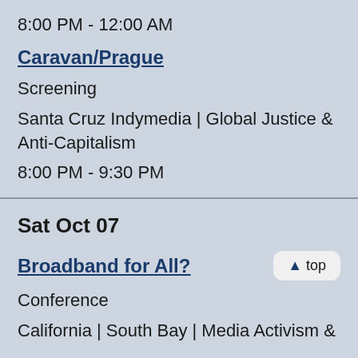8:00 PM - 12:00 AM
Caravan/Prague
Screening
Santa Cruz Indymedia | Global Justice & Anti-Capitalism
8:00 PM - 9:30 PM
Sat Oct 07
Broadband for All?
Conference
California | South Bay | Media Activism &